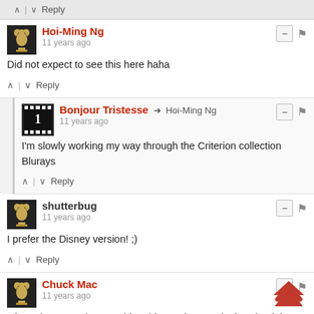↑ | ↓ Reply
Hoi-Ming Ng
11 years ago
Did not expect to see this here haha
↑ | ↓ Reply
Bonjour Tristesse → Hoi-Ming Ng
11 years ago
I'm slowly working my way through the Criterion collection Blurays
↑ | ↓ Reply
shutterbug
11 years ago
I prefer the Disney version! ;)
↑ | ↓ Reply
Chuck Mac
11 years ago
Oh God, I remember watching this one in French class back in high school.  We had to dissect the plot without